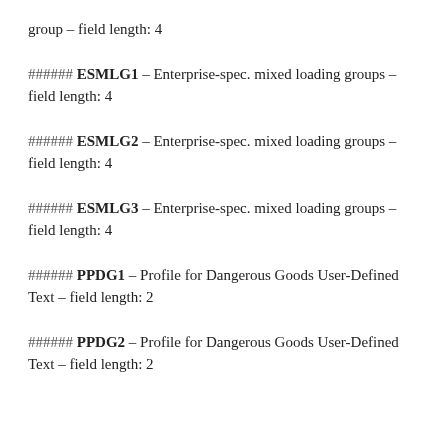group – field length: 4
###### ESMLG1 – Enterprise-spec. mixed loading groups – field length: 4
###### ESMLG2 – Enterprise-spec. mixed loading groups – field length: 4
###### ESMLG3 – Enterprise-spec. mixed loading groups – field length: 4
###### PPDG1 – Profile for Dangerous Goods User-Defined Text – field length: 2
###### PPDG2 – Profile for Dangerous Goods User-Defined Text – field length: 2